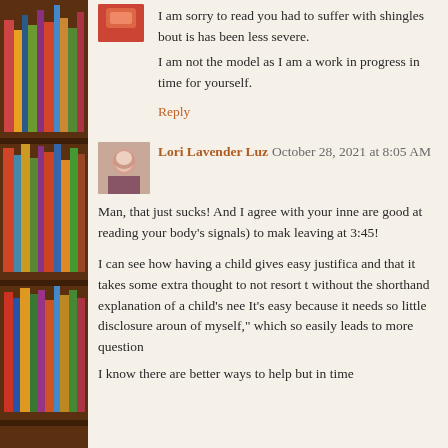[Figure (illustration): Bookshelf with colorful books on the left side of the page]
I am sorry to read you had to suffer with shingles bout is has been less severe.
I am not the model as I am a work in progress in time for yourself.
Reply
Lori Lavender Luz October 28, 2021 at 8:05 AM
Man, that just sucks! And I agree with your inne are good at reading your body's signals) to mak leaving at 3:45!
I can see how having a child gives easy justifica and that it takes some extra thought to not resort t without the shorthand explanation of a child's nee It's easy because it needs so little disclosure aroun of myself," which so easily leads to more question
I know there are better ways to help but in time